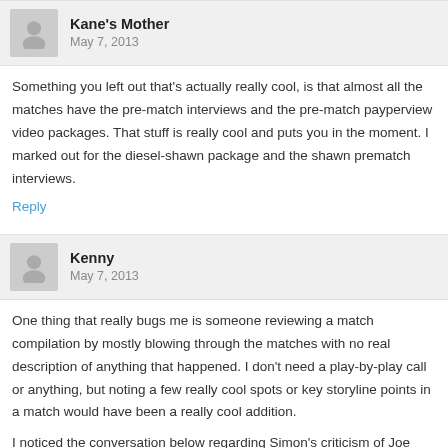Kane's Mother — May 7, 2013
Something you left out that's actually really cool, is that almost all the matches have the pre-match interviews and the pre-match payperview video packages. That stuff is really cool and puts you in the moment. I marked out for the diesel-shawn package and the shawn prematch interviews.
Reply
Kenny — May 7, 2013
One thing that really bugs me is someone reviewing a match compilation by mostly blowing through the matches with no real description of anything that happened. I don't need a play-by-play call or anything, but noting a few really cool spots or key storyline points in a match would have been a really cool addition.
I noticed the conversation below regarding Simon's criticism of Joe (the